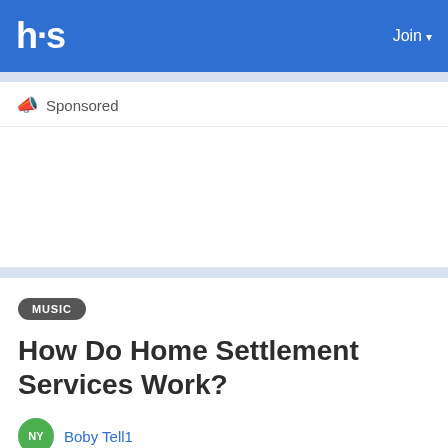hs | Join
Sponsored
MUSIC
How Do Home Settlement Services Work?
Boby Tell1